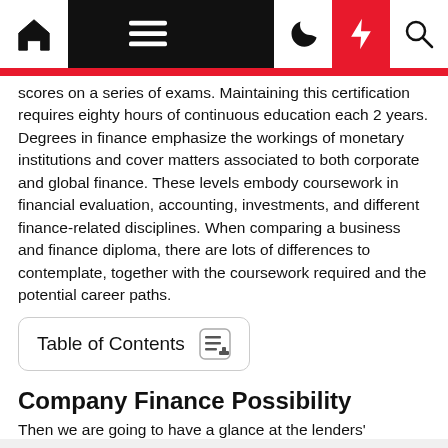[Navigation bar with home, menu, moon, lightning, search icons]
scores on a series of exams. Maintaining this certification requires eighty hours of continuous education each 2 years. Degrees in finance emphasize the workings of monetary institutions and cover matters associated to both corporate and global finance. These levels embody coursework in financial evaluation, accounting, investments, and different finance-related disciplines. When comparing a business and finance diploma, there are lots of differences to contemplate, together with the coursework required and the potential career paths.
Table of Contents
Company Finance Possibility
Then we are going to have a glance at the lenders'